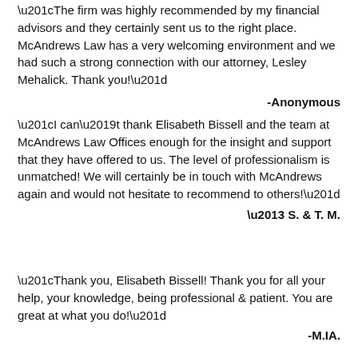“The firm was highly recommended by my financial advisors and they certainly sent us to the right place. McAndrews Law has a very welcoming environment and we had such a strong connection with our attorney, Lesley Mehalick. Thank you!”
-Anonymous
“I can’t thank Elisabeth Bissell and the team at McAndrews Law Offices enough for the insight and support that they have offered to us. The level of professionalism is unmatched! We will certainly be in touch with McAndrews again and would not hesitate to recommend to others!”
– S. & T. M.
“Thank you, Elisabeth Bissell! Thank you for all your help, your knowledge, being professional & patient. You are great at what you do!”
-M.IA.